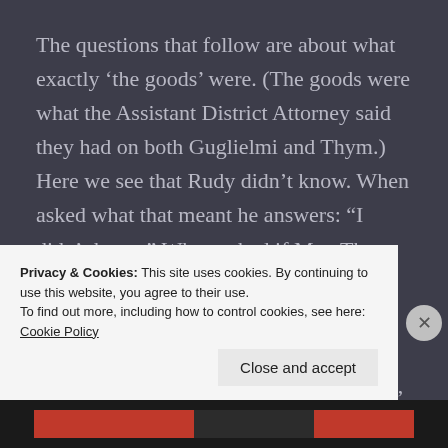The questions that follow are about what exactly ‘the goods’ were. (The goods were what the Assistant District Attorney said they had on both Guglielmi and Thym.) Here we see that Rudy didn’t know. When asked what that meant he answers: “I didn’t know.” When asked if Mrs. Thym had made: “… any statement to Judge Rosalsky in your presence, in the course of that proceeding?” his answer is: “She protested.” Further: “She said it was a lie, it was abominable, things of that sort. She was nearly hysterical.”
Privacy & Cookies: This site uses cookies. By continuing to use this website, you agree to their use.
To find out more, including how to control cookies, see here: Cookie Policy